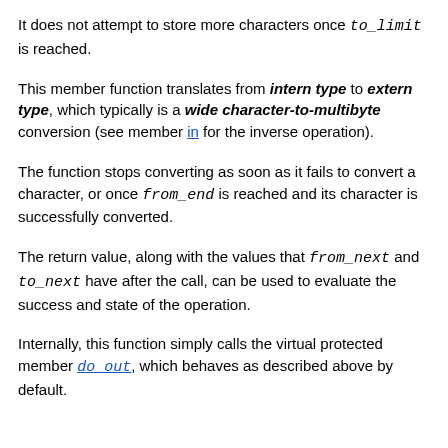It does not attempt to store more characters once to_limit is reached.
This member function translates from intern type to extern type, which typically is a wide character-to-multibyte conversion (see member in for the inverse operation).
The function stops converting as soon as it fails to convert a character, or once from_end is reached and its character is successfully converted.
The return value, along with the values that from_next and to_next have after the call, can be used to evaluate the success and state of the operation.
Internally, this function simply calls the virtual protected member do_out, which behaves as described above by default.